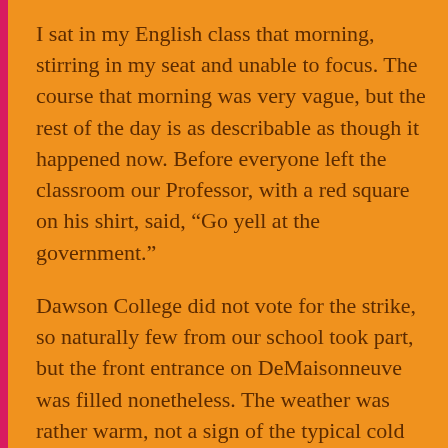I sat in my English class that morning, stirring in my seat and unable to focus. The course that morning was very vague, but the rest of the day is as describable as though it happened now. Before everyone left the classroom our Professor, with a red square on his shirt, said, “Go yell at the government.”
Dawson College did not vote for the strike, so naturally few from our school took part, but the front entrance on DeMaisonneuve was filled nonetheless. The weather was rather warm, not a sign of the typical cold Canadian winter in sight. There was a sense of mystery somehow. We began to